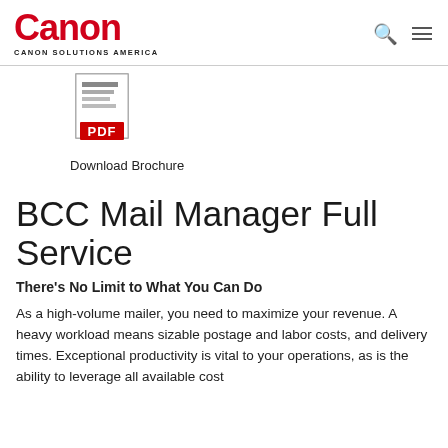Canon / CANON SOLUTIONS AMERICA
[Figure (logo): PDF document icon with red PDF label badge]
Download Brochure
BCC Mail Manager Full Service
There's No Limit to What You Can Do
As a high-volume mailer, you need to maximize your revenue. A heavy workload means sizable postage and labor costs, and delivery times. Exceptional productivity is vital to your operations, as is the ability to leverage all available cost